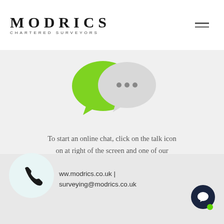[Figure (logo): Modrics Chartered Surveyors logo with hamburger menu icon]
[Figure (illustration): Two speech/chat bubbles - one bright green and one light grey with three dots, representing online chat]
To start an online chat, click on the talk icon on at right of the screen and one of our representatives will be able to help
ww.modrics.co.uk | surveying@modrics.co.uk